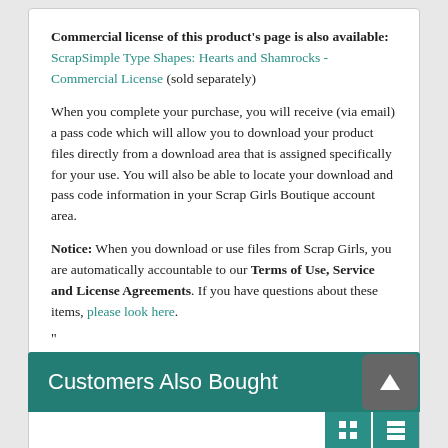Commercial license of this product's page is also available: ScrapSimple Type Shapes: Hearts and Shamrocks - Commercial License (sold separately)
When you complete your purchase, you will receive (via email) a pass code which will allow you to download your product files directly from a download area that is assigned specifically for your use. You will also be able to locate your download and pass code information in your Scrap Girls Boutique account area.
Notice: When you download or use files from Scrap Girls, you are automatically accountable to our Terms of Use, Service and License Agreements. If you have questions about these items, please look here.
"
Customers Also Bought